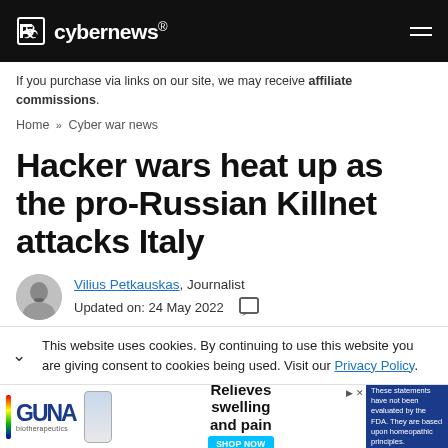cybernews®
If you purchase via links on our site, we may receive affiliate commissions.
Home » Cyber war news
Hacker wars heat up as the pro-Russian Killnet attacks Italy
Vilius Petkauskas , Journalist Updated on: 24 May 2022
This website uses cookies. By continuing to use this website you are giving consent to cookies being used. Visit our Privacy Policy.
[Figure (screenshot): GUNA biotherapeutics advertisement: Relieves swelling and pain, SHOP NOW button]